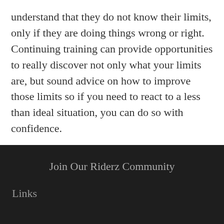understand that they do not know their limits, only if they are doing things wrong or right. Continuing training can provide opportunities to really discover not only what your limits are, but sound advice on how to improve those limits so if you need to react to a less than ideal situation, you can do so with confidence.
Join Our Riderz Community
Links